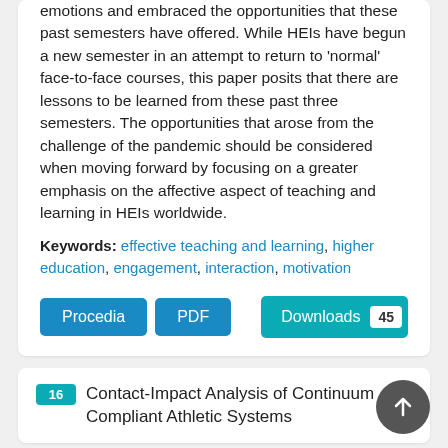emotions and embraced the opportunities that these past semesters have offered. While HEIs have begun a new semester in an attempt to return to 'normal' face-to-face courses, this paper posits that there are lessons to be learned from these past three semesters. The opportunities that arose from the challenge of the pandemic should be considered when moving forward by focusing on a greater emphasis on the affective aspect of teaching and learning in HEIs worldwide.
Keywords: effective teaching and learning, higher education, engagement, interaction, motivation
Procedia  PDF  Downloads 45
16  Contact-Impact Analysis of Continuum Compliant Athletic Systems